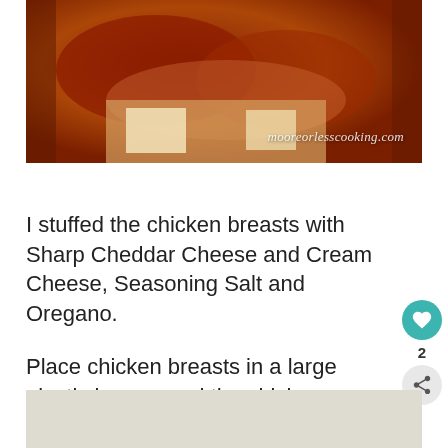[Figure (photo): Close-up photo of bacon-wrapped stuffed chicken breasts on a plate. Watermark reads mooreorlesscooking.com in italic white text at bottom right.]
I stuffed the chicken breasts with Sharp Cheddar Cheese and Cream Cheese, Seasoning Salt and Oregano.
Place chicken breasts in a large plastic bag, pound the chicken breasts with a kitchen mallet until they are flat, this tenderizes them.
[Figure (photo): Partial image at the bottom of the page, cropped.]